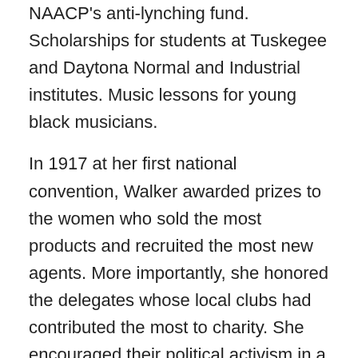NAACP's anti-lynching fund. Scholarships for students at Tuskegee and Daytona Normal and Industrial institutes. Music lessons for young black musicians.
In 1917 at her first national convention, Walker awarded prizes to the women who sold the most products and recruited the most new agents. More importantly, she honored the delegates whose local clubs had contributed the most to charity. She encouraged their political activism in a telegram to President Woodrow Wilson, urging him to support legislation that would make lynching a federal crime.